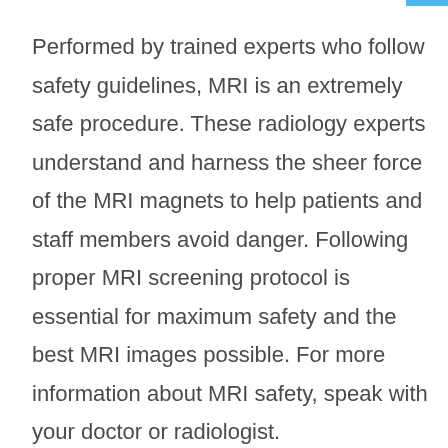Performed by trained experts who follow safety guidelines, MRI is an extremely safe procedure. These radiology experts understand and harness the sheer force of the MRI magnets to help patients and staff members avoid danger. Following proper MRI screening protocol is essential for maximum safety and the best MRI images possible. For more information about MRI safety, speak with your doctor or radiologist.